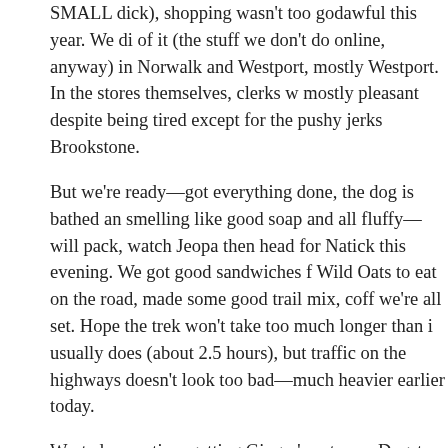SMALL dick), shopping wasn't too godawful this year. We did of it (the stuff we don't do online, anyway) in Norwalk and Westport, mostly Westport. In the stores themselves, clerks w mostly pleasant despite being tired except for the pushy jerks Brookstone.
But we're ready—got everything done, the dog is bathed and smelling like good soap and all fluffy—will pack, watch Jeopa then head for Natick this evening. We got good sandwiches f Wild Oats to eat on the road, made some good trail mix, coff we're all set. Hope the trek won't take too much longer than i usually does (about 2.5 hours), but traffic on the highways doesn't look too bad—much heavier earlier today.
Wasted some time getting Ginger's entry on Dogster up: http://www.dogster.com/?238239 (it was fun!)
posted by lee on 12/23/05 at 02:55 PM
miscellaneous everything • (0) comments • (0) trackbacks • permalink
Wednesday, December 28, 2005
well now, that's a relief
Christmas was fun – besides a burr grinder, Stanley gave me